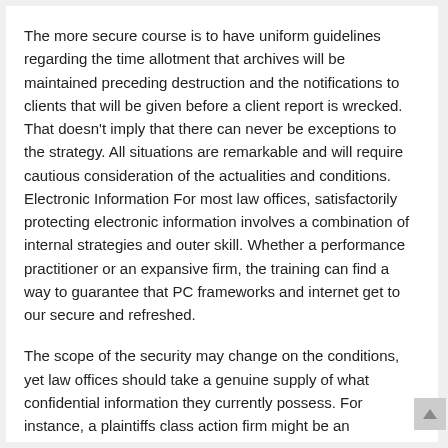The more secure course is to have uniform guidelines regarding the time allotment that archives will be maintained preceding destruction and the notifications to clients that will be given before a client report is wrecked. That doesn’t imply that there can never be exceptions to the strategy. All situations are remarkable and will require cautious consideration of the actualities and conditions. Electronic Information For most law offices, satisfactorily protecting electronic information involves a combination of internal strategies and outer skill. Whether a performance practitioner or an expansive firm, the training can find a way to guarantee that PC frameworks and internet get to our secure and refreshed.
The scope of the security may change on the conditions, yet law offices should take a genuine supply of what confidential information they currently possess. For instance, a plaintiffs class action firm might be an